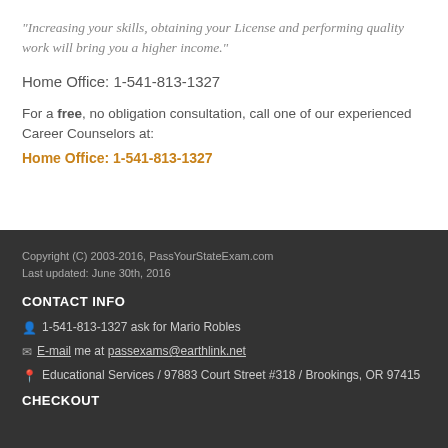"Increasing your skills, obtaining your License and performing quality work will bring you a higher income."
Home Office: 1-541-813-1327
For a free, no obligation consultation, call one of our experienced Career Counselors at:
Home Office: 1-541-813-1327
Copyright (C) 2003-2016, PassYourStateExam.com
Last updated: June 30th, 2016
CONTACT INFO
1-541-813-1327 ask for Mario Robles
E-mail me at passexams@earthlink.net
Educational Services / 97883 Court Street #318 / Brookings, OR 97415
CHECKOUT